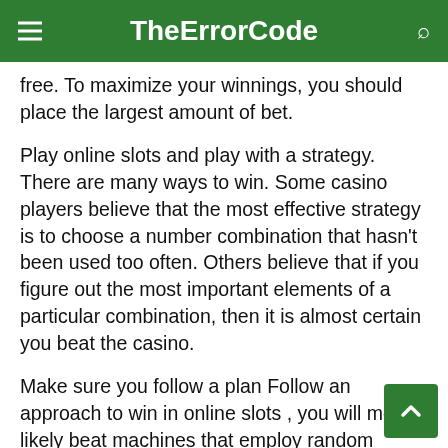TheErrorCode
free. To maximize your winnings, you should place the largest amount of bet.
Play online slots and play with a strategy. There are many ways to win. Some casino players believe that the most effective strategy is to choose a number combination that hasn't been used too often. Others believe that if you figure out the most important elements of a particular combination, then it is almost certain you beat the casino.
Make sure you follow a plan Follow an approach to win in online slots , you will most likely beat machines that employ random number generators. This strategy may not work every time but it's worth trying to see what happens. You can tes by looking at the payout rates for various amounts